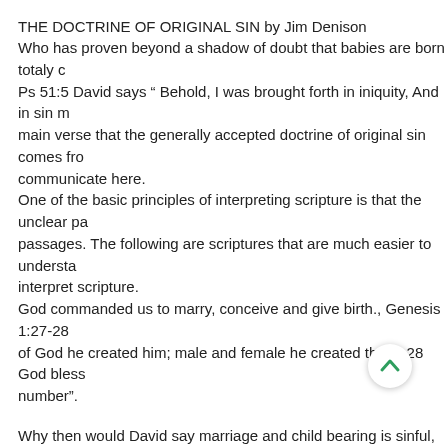THE DOCTRINE OF ORIGINAL SIN by Jim Denison
Who has proven beyond a shadow of doubt that babies are born totaly c Ps 51:5 David says “ Behold, I was brought forth in iniquity, And in sin m main verse that the generally accepted doctrine of original sin comes fro communicate here.
One of the basic principles of interpreting scripture is that the unclear pa passages. The following are scriptures that are much easier to understa interpret scripture.
God commanded us to marry, conceive and give birth., Genesis 1:27-28 of God he created him; male and female he created them. 28 God bless number”.
Why then would David say marriage and child bearing is sinful, and tha blessed by the Lord?
If children are sinners, why did Jesus say we must become like them to you become as a little child you cannot enter The kingdom of God. If children are totally depraved as some say, then become to enter the kingdom.